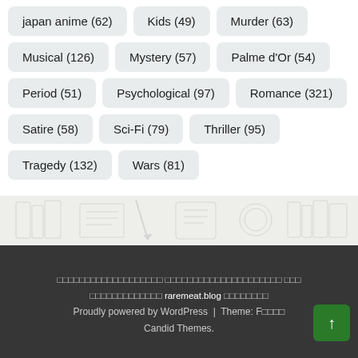japan anime (62)
Kids (49)
Murder (63)
Musical (126)
Mystery (57)
Palme d'Or (54)
Period (51)
Psychological (97)
Romance (321)
Satire (58)
Sci-Fi (79)
Thriller (95)
Tragedy (132)
Wars (81)
[Figure (illustration): Decorative background illustration with faint outlines of books, papers, and writing implements on a light gray background]
□□□□□□□□□□□□□□□□□□□ □□□□□□□□□□□□□□□□□□□□□ □□□ □□□□□□□□□□□□□ raremeat.blog □□□□□□□□ Proudly powered by WordPress | Theme: F□□□□ Candid Themes.